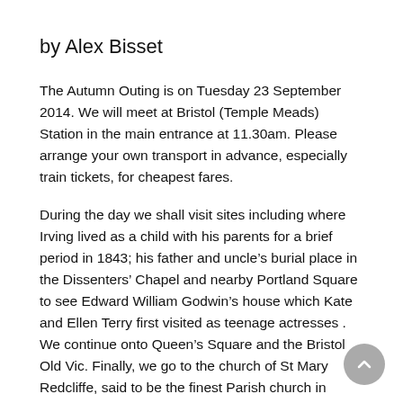by Alex Bisset
The Autumn Outing is on Tuesday 23 September 2014. We will meet at Bristol (Temple Meads) Station in the main entrance at 11.30am. Please arrange your own transport in advance, especially train tickets, for cheapest fares.
During the day we shall visit sites including where Irving lived as a child with his parents for a brief period in 1843; his father and uncle’s burial place in the Dissenters’ Chapel and nearby Portland Square to see Edward William Godwin’s house which Kate and Ellen Terry first visited as teenage actresses . We continue onto Queen’s Square and the Bristol Old Vic. Finally, we go to the church of St Mary Redcliffe, said to be the finest Parish church in England, which has close association with Cabot, Handel, Southey,